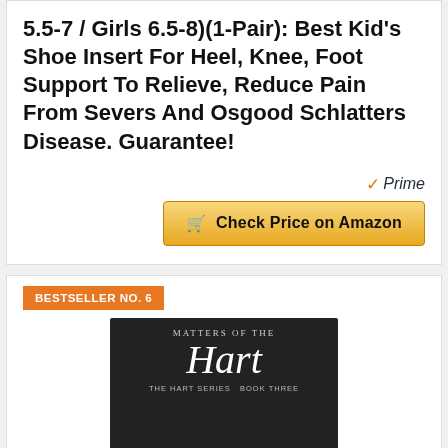5.5-7 / Girls 6.5-8)(1-Pair): Best Kid's Shoe Insert For Heel, Knee, Foot Support To Relieve, Reduce Pain From Severs And Osgood Schlatters Disease. Guarantee!
[Figure (logo): Amazon Prime logo with orange checkmark and italic 'Prime' text]
[Figure (other): Gold 'Check Price on Amazon' button with shopping cart icon]
BESTSELLER NO. 6
[Figure (photo): Book cover of 'Matters of the Hart' showing dark moody cover with stylized 'Hart' title text in white and 'The Hart Series Book Three' subtitle]